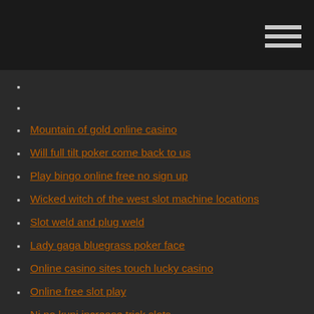Mountain of gold online casino
Will full tilt poker come back to us
Play bingo online free no sign up
Wicked witch of the west slot machine locations
Slot weld and plug weld
Lady gaga bluegrass poker face
Online casino sites touch lucky casino
Online free slot play
Ni no kuni increase trick slots
Island casino escanaba golf outing 2019
Pit river casino gambling age
Chinook shores winds casino fall poker 4